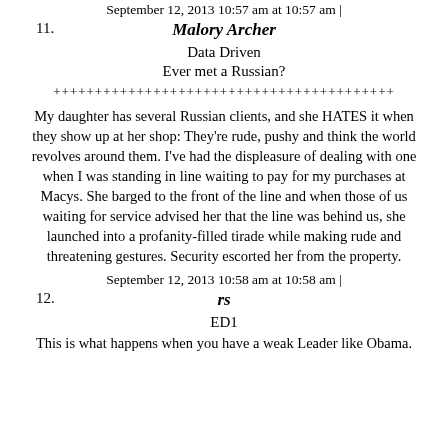September 12, 2013 10:57 am at 10:57 am |
11. Malory Archer
Data Driven
Ever met a Russian?
+++++++++++++++++++++++++++++++++++++++++
My daughter has several Russian clients, and she HATES it when they show up at her shop: They're rude, pushy and think the world revolves around them. I've had the displeasure of dealing with one when I was standing in line waiting to pay for my purchases at Macys. She barged to the front of the line and when those of us waiting for service advised her that the line was behind us, she launched into a profanity-filled tirade while making rude and threatening gestures. Security escorted her from the property.
September 12, 2013 10:58 am at 10:58 am |
12. rs
ED1
This is what happens when you have a weak Leader like Obama.